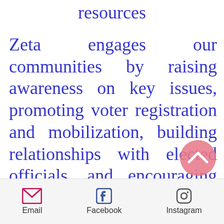resources
Zeta engages our communities by raising awareness on key issues, promoting voter registration and mobilization, building relationships with elected officials, and encouraging qualified women and minorities to pu… community leadership
Email  Facebook  Instagram